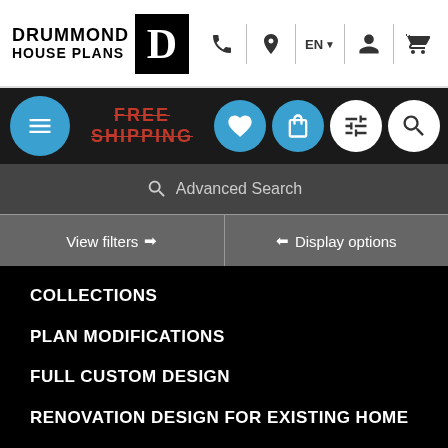[Figure (logo): Drummond House Plans logo with black D lettermark]
DRUMMOND HOUSE PLANS navigation bar with phone, location, EN language, account, cart icons
FREE SHIPPING
Advanced Search
View filters →
← Display options
COLLECTIONS
PLAN MODIFICATIONS
FULL CUSTOM DESIGN
RENOVATION DESIGN FOR EXISTING HOME